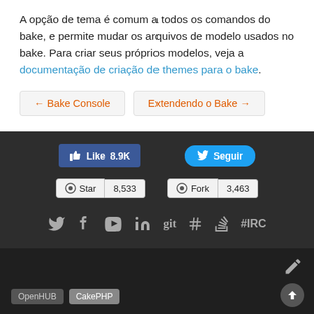A opção de tema é comum a todos os comandos do bake, e permite mudar os arquivos de modelo usados no bake. Para criar seus próprios modelos, veja a documentação de criação de themes para o bake.
← Bake Console
Extendendo o Bake →
[Figure (screenshot): Social media buttons section on dark background: Facebook Like button showing 8.9K, Twitter Seguir button, GitHub Star button showing 8,533, GitHub Fork button showing 3,463, and a row of social media icons (Twitter, Facebook, YouTube, LinkedIn, git, hashtag, Stack Overflow, IRC)]
[Figure (screenshot): Dark footer section with pencil edit icon, up arrow scroll button, and OpenHUB and CakePHP tags]